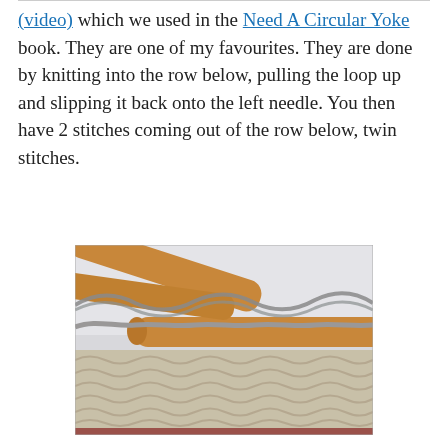(video) which we used in the Need A Circular Yoke book. They are one of my favourites. They are done by knitting into the row below, pulling the loop up and slipping it back onto the left needle. You then have 2 stitches coming out of the row below, twin stitches.
[Figure (photo): Close-up photograph of knitting needles (bamboo/wooden) with grey yarn showing twin stitches technique on a knitted swatch]